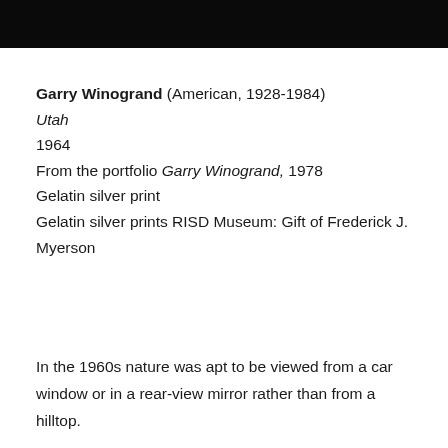[Figure (photo): Dark/black photograph strip at the top of the page]
Garry Winogrand (American, 1928-1984)
Utah
1964
From the portfolio Garry Winogrand, 1978
Gelatin silver print
Gelatin silver prints RISD Museum: Gift of Frederick J. Myerson
In the 1960s nature was apt to be viewed from a car window or in a rear-view mirror rather than from a hilltop.